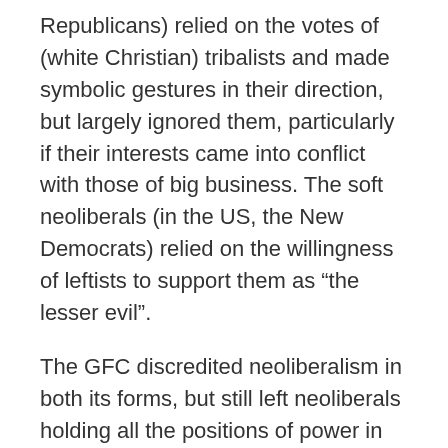Republicans) relied on the votes of (white Christian) tribalists and made symbolic gestures in their direction, but largely ignored them, particularly if their interests came into conflict with those of big business. The soft neoliberals (in the US, the New Democrats) relied on the willingness of leftists to support them as “the lesser evil”.
The GFC discredited neoliberalism in both its forms, but still left neoliberals holding all the positions of power in the political and economic system. But the erosion of support for both hard and soft neoliberalism has made the maintenance of the neoliberal duopoly more difficult. On the right, Trump has shown that the tribalist vote can be mobilised more successfully if it is unmoored from the Wall Street agenda of orthodox rightwing Republicans like Cruz. On the left, Sanders has not done quite so